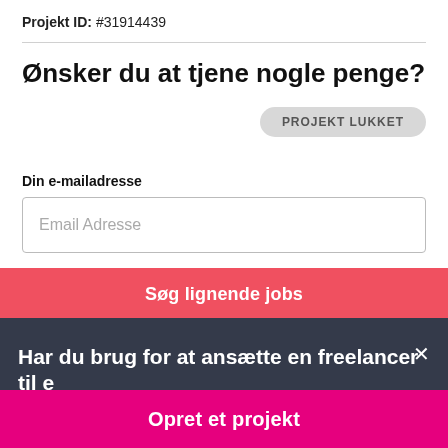Projekt ID: #31914439
Ønsker du at tjene nogle penge?
PROJEKT LUKKET
Din e-mailadresse
Email Adresse
Søg lignende jobs
Har du brug for at ansætte en freelancer til et job?
Opret et projekt